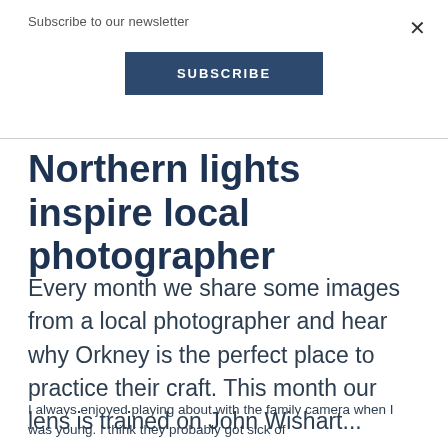Subscribe to our newsletter
SUBSCRIBE
Northern lights inspire local photographer
Every month we share some images from a local photographer and hear why Orkney is the perfect place to practice their craft. This month our lens is trained on John Wishart...
I always enjoyed playing about with the family camera when I was young. I think they probably got sick of